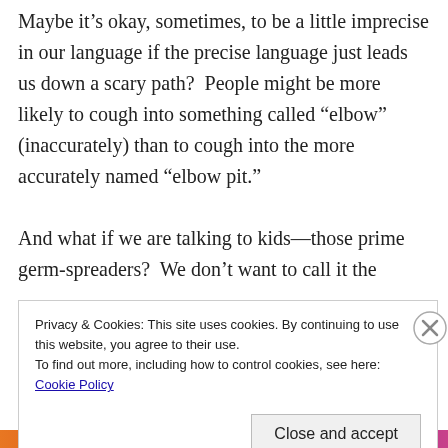Maybe it's okay, sometimes, to be a little imprecise in our language if the precise language just leads us down a scary path?  People might be more likely to cough into something called “elbow” (inaccurately) than to cough into the more accurately named “elbow pit.”
And what if we are talking to kids—those prime germ-spreaders?  We don’t want to call it the
Privacy & Cookies: This site uses cookies. By continuing to use this website, you agree to their use.
To find out more, including how to control cookies, see here: Cookie Policy